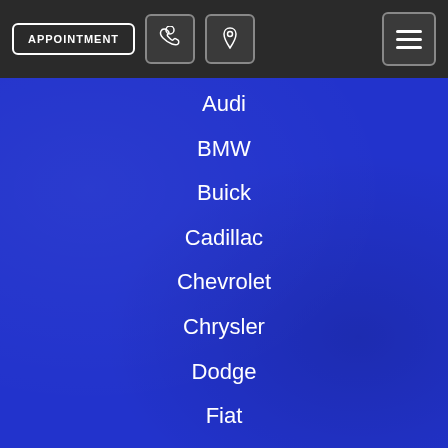APPOINTMENT [phone icon] [location icon] [menu icon]
Audi
BMW
Buick
Cadillac
Chevrolet
Chrysler
Dodge
Fiat
Ford
GMC
Honda